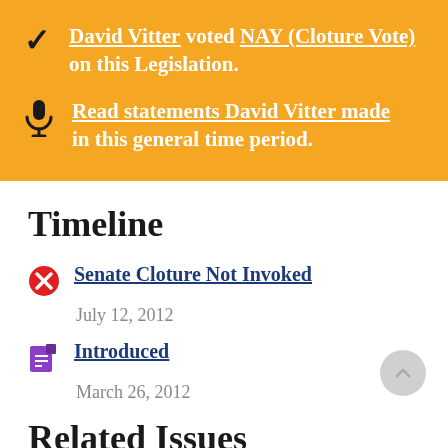David Vitter voted NAY (Cloture Vote) on this Legislation.
Read statements David Vitter made in this general time period.
Timeline
Senate Cloture Not Invoked — July 12, 2012
Introduced — March 26, 2012
Related Issues